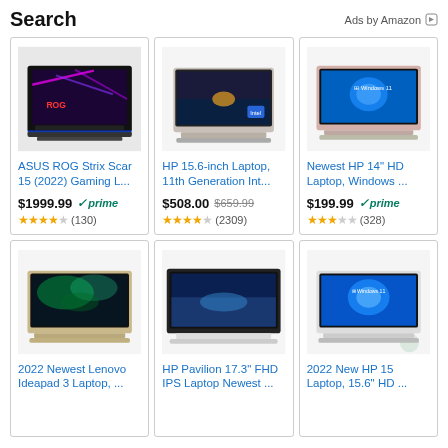Search
Ads by Amazon
[Figure (screenshot): ASUS ROG Strix Scar 15 gaming laptop product image - black laptop with RGB lighting]
ASUS ROG Strix Scar 15 (2022) Gaming L...
$1999.99 prime (130) 4.5 stars
[Figure (screenshot): HP 15.6-inch laptop product image - silver laptop]
HP 15.6-inch Laptop, 11th Generation Int...
$508.00 $659.99 (2309) 4.5 stars
[Figure (screenshot): Newest HP 14 inch HD laptop product image - pink laptop with Windows 11]
Newest HP 14" HD Laptop, Windows ...
$199.99 prime (328) 3.5 stars
[Figure (screenshot): 2022 Newest Lenovo Ideapad 3 Laptop product image - gold/beige laptop]
2022 Newest Lenovo Ideapad 3 Laptop, ...
[Figure (screenshot): HP Pavilion 17.3 inch FHD IPS Laptop product image - white laptop]
HP Pavilion 17.3" FHD IPS Laptop Newest ...
[Figure (screenshot): 2022 New HP 15 Laptop product image - white laptop with Windows 11]
2022 New HP 15 Laptop, 15.6" HD ...